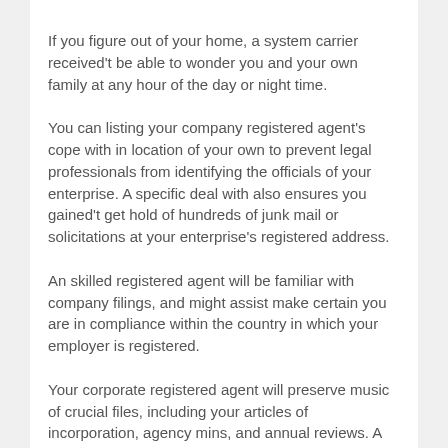If you figure out of your home, a system carrier received't be able to wonder you and your own family at any hour of the day or night time.
You can listing your company registered agent's cope with in location of your own to prevent legal professionals from identifying the officials of your enterprise. A specific deal with also ensures you gained't get hold of hundreds of junk mail or solicitations at your enterprise's registered address.
An skilled registered agent will be familiar with company filings, and might assist make certain you are in compliance within the country in which your employer is registered.
Your corporate registered agent will preserve music of crucial files, including your articles of incorporation, agency mins, and annual reviews. A expert registered agent will even keep these files on line and offer get